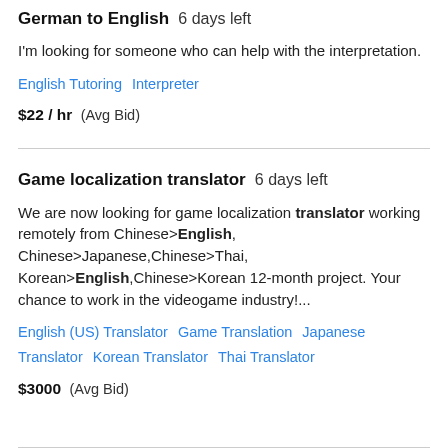German to English  6 days left
I'm looking for someone who can help with the interpretation.
English Tutoring   Interpreter
$22 / hr  (Avg Bid)
Game localization translator  6 days left
We are now looking for game localization translator working remotely from Chinese>English, Chinese>Japanese,Chinese>Thai, Korean>English,Chinese>Korean 12-month project. Your chance to work in the videogame industry!...
English (US) Translator   Game Translation   Japanese Translator   Korean Translator   Thai Translator
$3000  (Avg Bid)